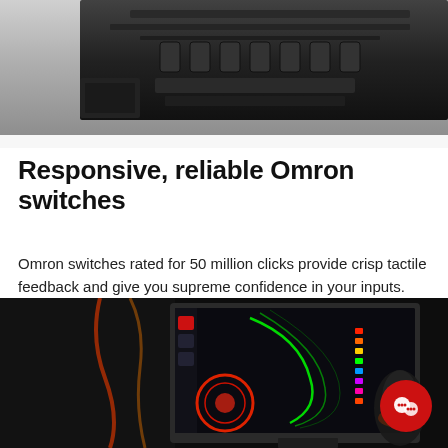[Figure (photo): Close-up of dark black mechanical/plastic component details, likely a gaming mouse or peripheral, on a light gray background. Top portion shows macro details of the device.]
Responsive, reliable Omron switches
Omron switches rated for 50 million clicks provide crisp tactile feedback and give you supreme confidence in your inputs.
[Figure (photo): Dark photo of a gaming setup showing a monitor displaying RGB lighting software with a colorful green and red interface, and a gaming mouse with RGB lighting visible. Red circle chat/support icon in bottom-right corner.]